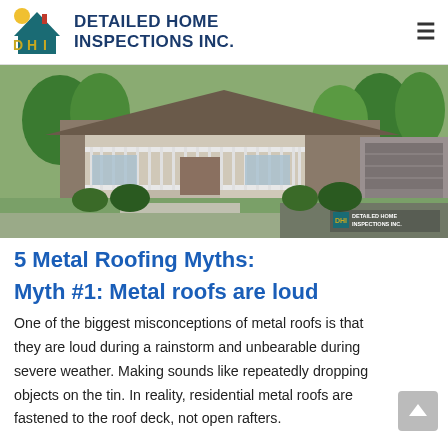DETAILED HOME INSPECTIONS INC.
[Figure (photo): Exterior photo of a suburban home with green lawn, white porch railings, and a garage, with a DHI Detailed Home Inspections Inc. watermark in the bottom right corner.]
5 Metal Roofing Myths:
Myth #1: Metal roofs are loud
One of the biggest misconceptions of metal roofs is that they are loud during a rainstorm and unbearable during severe weather. Making sounds like repeatedly dropping objects on the tin. In reality, residential metal roofs are fastened to the roof deck, not open rafters.